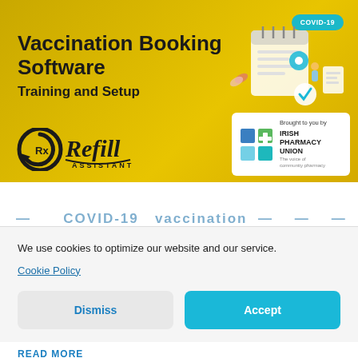[Figure (infographic): Yellow banner for Vaccination Booking Software Training and Setup, featuring Rx Refill Assistant logo and Irish Pharmacy Union branding with a COVID-19 badge, decorative calendar/medical illustration on right side.]
COVID-19 Vaccination — ...
We use cookies to optimize our website and our service.
Cookie Policy
Dismiss
Accept
READ MORE